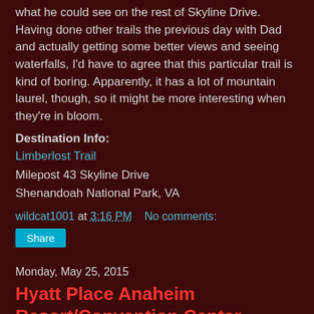what he could see on the rest of Skyline Drive. Having done other trails the previous day with Dad and actually getting some better views and seeing waterfalls, I'd have to agree that this particular trail is kind of boring. Apparently, it has a lot of mountain laurel, though, so it might be more interesting when they're in bloom.
Destination Info:
Limberlost Trail
Milepost 43 Skyline Drive
Shenandoah National Park, VA
wildcat1001 at 3:16 PM   No comments:
Share
Monday, May 25, 2015
Hyatt Place Anaheim Resort/Convention Center
Date of Visit: May 16-24, 2015